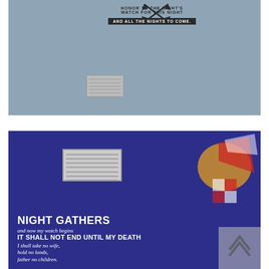[Figure (photo): Photo of a blue-grey wall with a dark vinyl wall decal showing crossed arrows and text reading 'HONOR TO THE NIGHT'S WATCH FOR THIS NIGHT AND ALL THE NIGHTS TO COME.' A ventilation grille is visible on the wall.]
[Figure (photo): Photo of a blue painted wall with white vinyl text decal reading 'NIGHT GATHERS and now my watch begins IT SHALL NOT END UNTIL MY DEATH I shall take no wife, hold no lands, father no children.' A ventilation grille, a decorative hat, and a watermark logo overlay are visible.]